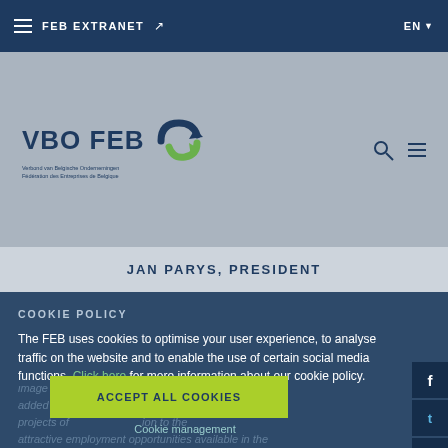FEB EXTRANET ↗   EN
[Figure (logo): VBO FEB logo with double arrow icon in green and blue, subtitle text below]
JAN PARYS, PRESIDENT
COOKIE POLICY
The FEB uses cookies to optimise your user experience, to analyse traffic on the website and to enable the use of certain social media functions. Click here for more information about our cookie policy.
ORI is committed to protecting the interests of engineering and consultancy firms, promoting their image as a quality-conscious sector and highlighting the added value they provide. The association supports the projects of [...] ion to the attractive employment opportunities available in the sector.
ACCEPT ALL COOKIES
Cookie management